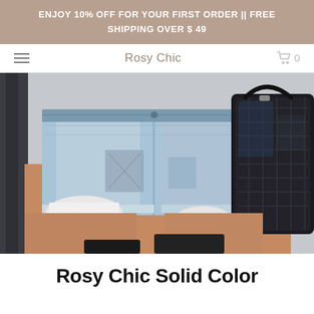ENJOY 10% OFF FOR YOUR FIRST ORDER || FREE SHIPPING OVER $ 49
Rosy Chic  0
[Figure (photo): Close-up photo of a person wearing light blue distressed denim cut-off shorts, with frayed hems. A dark textured handbag is visible on the right side.]
Rosy Chic Solid Color